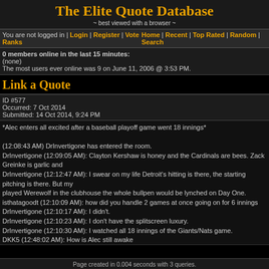The Elite Quote Database
~ best viewed with a browser ~
You are not logged in | Login | Register | Vote Ranks    Home | Recent | Top Rated | Random | Search
0 members online in the last 15 minutes:
(none)
The most users ever online was 9 on June 11, 2006 @ 3:53 PM.
Link a Quote
ID #577
Occurred: 7 Oct 2014
Submitted: 14 Oct 2014, 9:24 PM
*Alec enters all excited after a baseball playoff game went 18 innings*

(12:08:43 AM) DrInvertigone has entered the room.
DrInvertigone (12:09:05 AM): Clayton Kershaw is honey and the Cardinals are bees. Zack Greinke is garlic and...
DrInvertigone (12:12:47 AM): I swear on my life Detroit's hitting is there, the starting pitching is there. But my... played Werewolf in the clubhouse the whole bullpen would be lynched on Day One.
isthatagoodt (12:10:09 AM): how did you handle 2 games at once going on for 6 innings
DrInvertigone (12:10:17 AM): I didn't.
DrInvertigone (12:10:23 AM): I don't have the splitscreen luxury.
DrInvertigone (12:10:30 AM): I watched all 18 innings of the Giants/Nats game.
DKK5 (12:48:02 AM): How is Alec still awake
DrInvertigone (12:49:00 AM): This thing, called Baseball. I just, can handle it. I am ready. Crazy Little Thing C... is why I'm still up.
Infilament (1:02:18 AM): what do you mean, "don't have the splitscreen luxury"
Infilament (1:02:21 AM): watch one of the games on your computer
Infilament (1:03:53 AM): we gotta teach you how to multitask, Al
DrInvertigone (1:04:15 AM): I'm breathing and typing at the same time. That's multitasking right there.
Infilament (1:04:45 AM): well, let's level you up to post-toddler multitasking next time
Page created in 0.004 seconds with 3 queries.